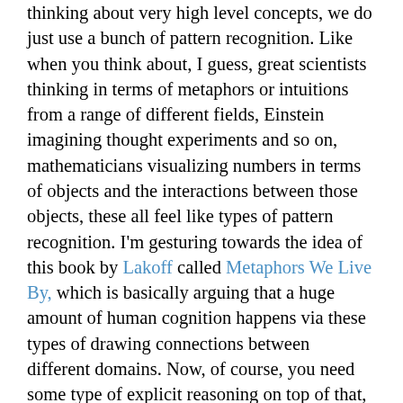thinking about very high level concepts, we do just use a bunch of pattern recognition. Like when you think about, I guess, great scientists thinking in terms of metaphors or intuitions from a range of different fields, Einstein imagining thought experiments and so on, mathematicians visualizing numbers in terms of objects and the interactions between those objects, these all feel like types of pattern recognition. I'm gesturing towards the idea of this book by Lakoff called Metaphors We Live By, which is basically arguing that a huge amount of human cognition happens via these types of drawing connections between different domains. Now, of course, you need some type of explicit reasoning on top of that, but it doesn't seem like the type of thing which necessarily requires new architectures, or us to build it in explicitly.
Richard Ngo: There's another book which is great on this topic, called The Enigma of Reason, which kind of fits these ideas together: explicit reasoning and pattern matching. It basically argues that explicit reasoning is just